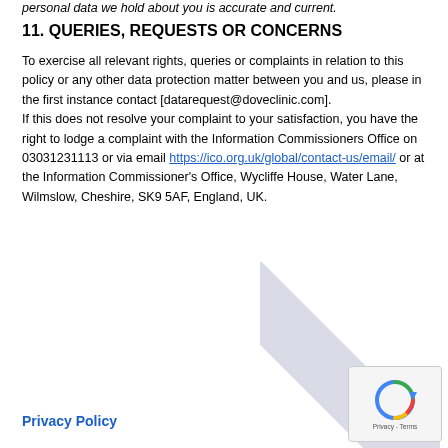personal data we hold about you is accurate and current.
11. QUERIES, REQUESTS OR CONCERNS
To exercise all relevant rights, queries or complaints in relation to this policy or any other data protection matter between you and us, please in the first instance contact [datarequest@doveclinic.com]. If this does not resolve your complaint to your satisfaction, you have the right to lodge a complaint with the Information Commissioners Office on 03031231113 or via email https://ico.org.uk/global/contact-us/email/ or at the Information Commissioner's Office, Wycliffe House, Water Lane, Wilmslow, Cheshire, SK9 5AF, England, UK.
Privacy Policy